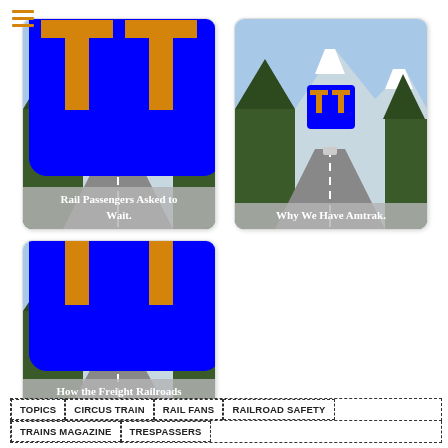[Figure (screenshot): Card 1: Mountain road scene with TT logo and text 'Rail Passengers Asked to Wait.']
[Figure (screenshot): Card 2: Mountain road scene with TT logo and text 'Why We Have Amtrak.']
[Figure (screenshot): Card 3: Mountain road scene with TT logo and text 'How the Freight Railroads Are Screwing Us.']
TOPICS
CIRCUS TRAIN
RAIL FANS
RAILROAD SAFETY
TRAINS MAGAZINE
TRESPASSERS